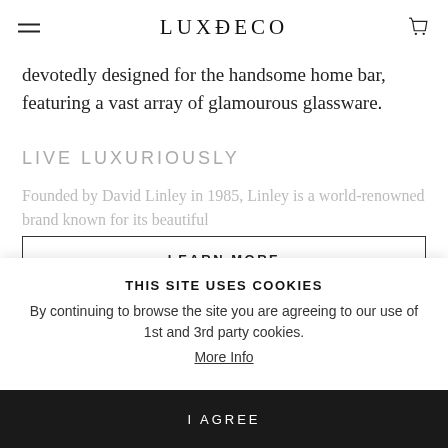LUXDECO
devotedly designed for the handsome home bar, featuring a vast array of glamourous glassware.
LIVE LUXURIOUSLY
Founded by David Linley in 1985, Linley is a world-renowned brand known for its beautiful
LEARN MORE
Dimensions
THIS SITE USES COOKIES
By continuing to browse the site you are agreeing to our use of 1st and 3rd party cookies.
More Info
I AGREE